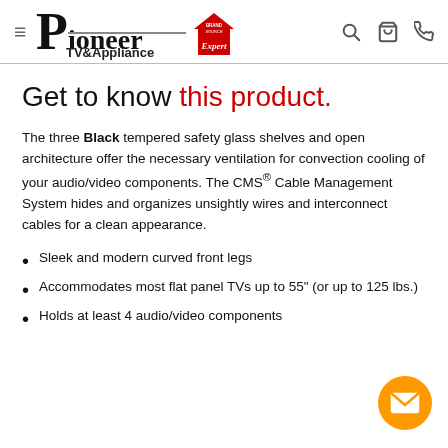Pioneer TV & Appliance — Brand Source Expert
Get to know this product.
The three Black tempered safety glass shelves and open architecture offer the necessary ventilation for convection cooling of your audio/video components. The CMS® Cable Management System hides and organizes unsightly wires and interconnect cables for a clean appearance.
Sleek and modern curved front legs
Accommodates most flat panel TVs up to 55" (or up to 125 lbs.)
Holds at least 4 audio/video components